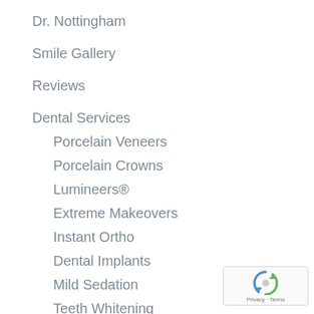Dr. Nottingham
Smile Gallery
Reviews
Dental Services
Porcelain Veneers
Porcelain Crowns
Lumineers®
Extreme Makeovers
Instant Ortho
Dental Implants
Mild Sedation
Teeth Whitening
Contact
[Figure (logo): reCAPTCHA badge with Privacy and Terms text]